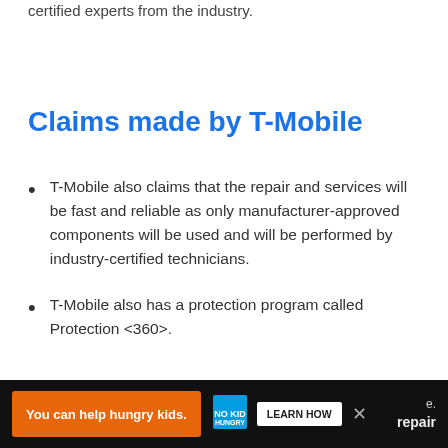certified experts from the industry.
Claims made by T-Mobile
T-Mobile also claims that the repair and services will be fast and reliable as only manufacturer-approved components will be used and will be performed by industry-certified technicians.
T-Mobile also has a protection program called Protection <360>.
[Figure (screenshot): Advertisement banner: 'You can help hungry kids.' with No Kid Hungry logo and LEARN HOW button on dark background with orange highlight. Close button (X) visible.]